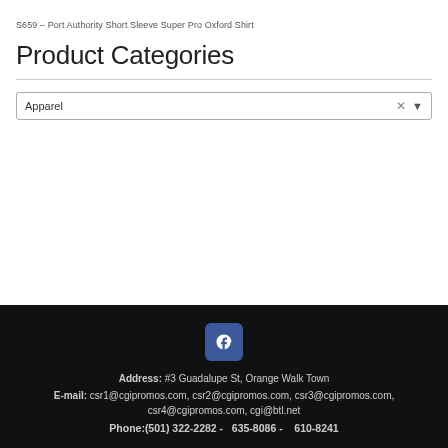S659 – Port Authority Short Sleeve Super Pro Oxford Shirt
Product Categories
Apparel
Address: #3 Guadalupe St, Orange Walk Town  E-mail: csr1@cgipromos.com, csr2@cgipromos.com, csr3@cgipromos.com, csr4@cgipromos.com, cgi@btl.net  Phone:(501) 322-2282 - 635-8086 - 610-8241